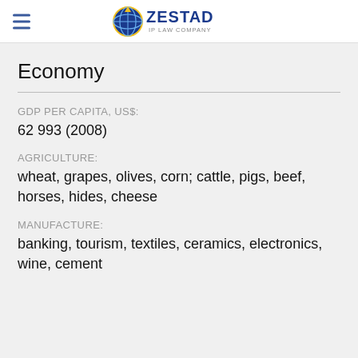ZESTAD IP LAW COMPANY
Economy
GDP PER CAPITA, US$:
62 993 (2008)
AGRICULTURE:
wheat, grapes, olives, corn; cattle, pigs, beef, horses, hides, cheese
MANUFACTURE:
banking, tourism, textiles, ceramics, electronics, wine, cement